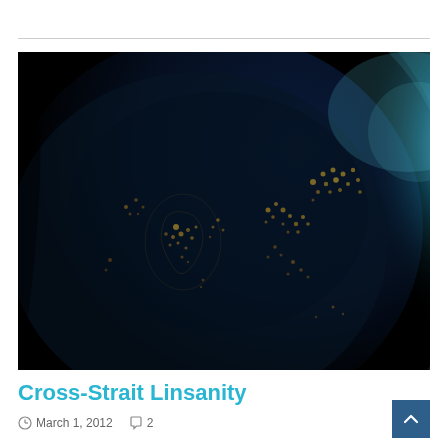[Figure (photo): NASA nighttime satellite photo of Earth showing Asia, India, and surrounding regions with city lights glowing golden against dark landmasses, deep blue atmospheric glow on the right edge, black space background.]
Cross-Strait Linsanity
March 1, 2012   2